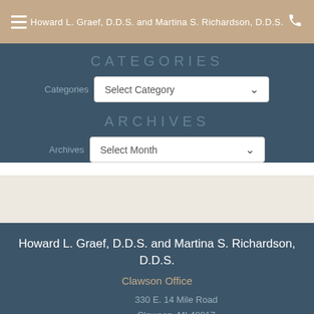Howard L. Graef, D.D.S. and Martina S. Richardson, D.D.S.
CATEGORIES
Categories: Select Category
ARCHIVES
Archives: Select Month
Howard L. Graef, D.D.S. and Martina S. Richardson, D.D.S.
Clawson Office
330 E. 14 Mile Road
Clawson, MI 48017
Tel: 248-589-2021
Fax: 248-589-3390